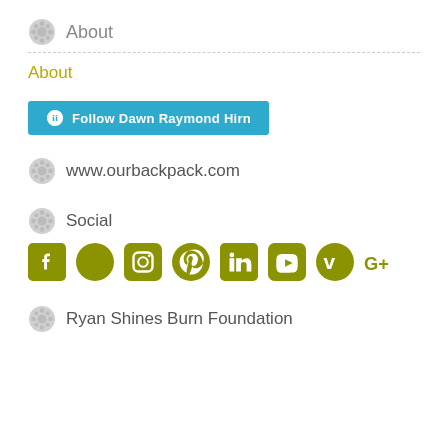About
About
[Figure (other): Follow Dawn Raymond Hirn WordPress follow button]
www.ourbackpack.com
Social
[Figure (other): Social media icons: Facebook, Twitter, Instagram, Pinterest, LinkedIn, YouTube, Vimeo, Google+]
Ryan Shines Burn Foundation